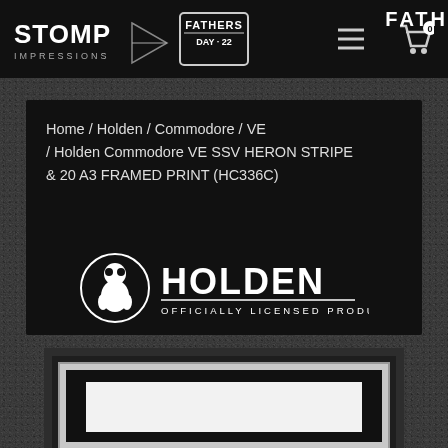FATH
[Figure (screenshot): Stomp Impressions logo with Fathers Day 22 badge in navigation bar]
Home / Holden / Commodore / VE / Holden Commodore VE SSV HERON STRIPE & 20 A3 FRAMED PRINT (HC336C)
[Figure (logo): Holden Officially Licensed Product logo with lion emblem]
[Figure (photo): A3 framed print in black frame with white mat, partially visible]